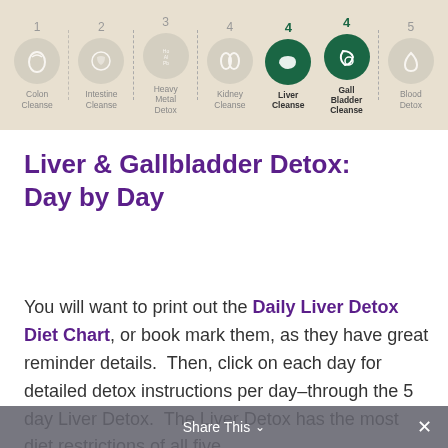[Figure (infographic): 5-step detox program progress diagram showing numbered steps in circles: 1-Colon Cleanse, 2-Intestine Cleanse, 3-Heavy Metal Detox, 4-Kidney Cleanse, 4-Liver Cleanse, 4-Gall Bladder Cleanse (highlighted in dark green as active step), 5-Blood Detox]
Liver & Gallbladder Detox: Day by Day
You will want to print out the Daily Liver Detox Diet Chart, or book mark them, as they have great reminder details.  Then, click on each day for detailed detox instructions per day–through the 5 day Liver Detox.  The Liver Detox has the most diet restrictions of all five
Share This ∨  ✕